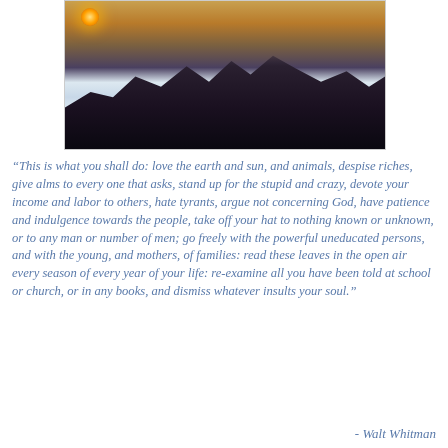[Figure (photo): A dramatic landscape photograph showing snow-covered rocky mountains or volcanic peaks under a stormy sky with orange and golden sunset colors breaking through dark clouds.]
“This is what you shall do: love the earth and sun, and animals, despise riches, give alms to every one that asks, stand up for the stupid and crazy, devote your income and labor to others, hate tyrants, argue not concerning God, have patience and indulgence towards the people, take off your hat to nothing known or unknown, or to any man or number of men; go freely with the powerful uneducated persons, and with the young, and mothers, of families: read these leaves in the open air every season of every year of your life: re-examine all you have been told at school or church, or in any books, and dismiss whatever insults your soul.”
- Walt Whitman